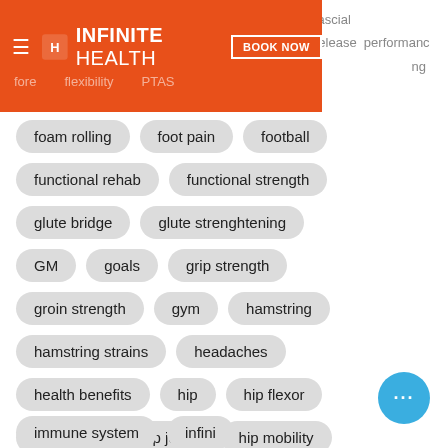INFINITE HEALTH — BOOK NOW
foam rolling
foot pain
football
functional rehab
functional strength
glute bridge
glute strenghtening
GM
goals
grip strength
groin strength
gym
hamstring
hamstring strains
headaches
health benefits
hip
hip flexor
hip hinge
hip joint
hip mobility
hipflexors
home workout
hydration
ihphysiotherapy
immune system
infini